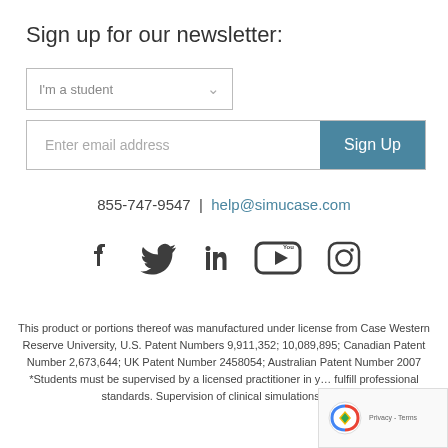Sign up for our newsletter:
[Figure (other): Dropdown selector reading 'I'm a student' with a chevron arrow]
[Figure (other): Email input field with placeholder 'Enter email address' and a teal 'Sign Up' button]
855-747-9547 | help@simucase.com
[Figure (other): Social media icons: Facebook, Twitter, LinkedIn, YouTube, Instagram]
This product or portions thereof was manufactured under license from Case Western Reserve University, U.S. Patent Numbers 9,911,352; 10,089,895; Canadian Patent Number 2,673,644; UK Patent Number 2458054; Australian Patent Number 2007... *Students must be supervised by a licensed practitioner in y... fulfill professional standards. Supervision of clinical simulations must...